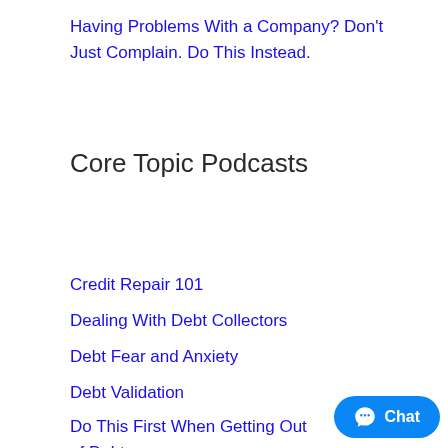Having Problems With a Company? Don't Just Complain. Do This Instead.
Core Topic Podcasts
Credit Repair 101
Dealing With Debt Collectors
Debt Fear and Anxiety
Debt Validation
Do This First When Getting Out of Debt
How to Complain Like a Pro